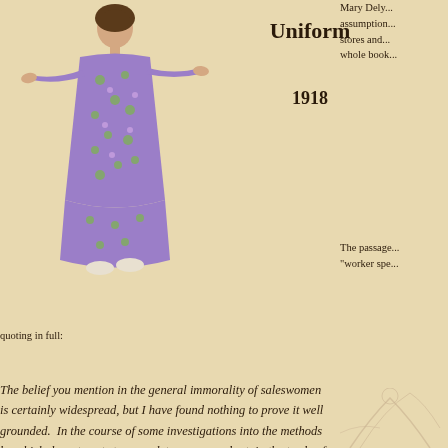[Figure (illustration): A woman wearing a long purple and green floral dress/uniform with her arms outstretched, standing pose, early 20th century style illustration]
Uniform
1918
Mary Dely... assumption... stores and... whole book...
The passage... "worker spe... quoting in full:
The belief you mention in the general immorality of saleswomen is certainly widespread, but I have found nothing to prove it well grounded. In the course of some investigations into the methods by which department stores seek to secure and retain the trade of the professionally immoral women, a trade which, as you probably know, is considered exceptionally valuable, I came on something which may throw some light on the existence of the belief. Mr. _____, who was first a department store manager in several large stores, and then himself established a millinery business, said he had found the best way of gaining and holding this trade was by having a forewomen who was "in" with such women, which of course meant that she herself led an immoral
[Figure (illustration): Partial illustration visible at bottom right corner, appears to be another figure drawing]